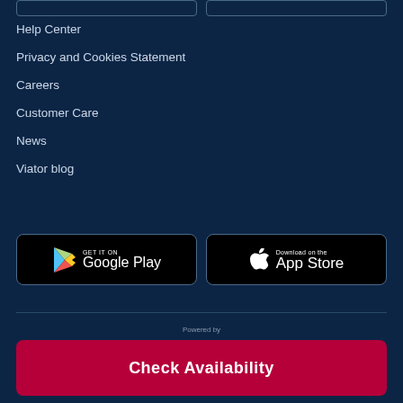Help Center
Privacy and Cookies Statement
Careers
Customer Care
News
Viator blog
[Figure (screenshot): GET IT ON Google Play button - black rounded rectangle with Google Play logo and text]
[Figure (screenshot): Download on the App Store button - black rounded rectangle with Apple logo and text]
Powered by
Check Availability